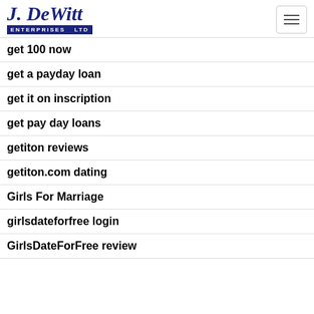J. DeWitt Enterprises Ltd
get 100 now
get a payday loan
get it on inscription
get pay day loans
getiton reviews
getiton.com dating
Girls For Marriage
girlsdateforfree login
GirlsDateForFree review